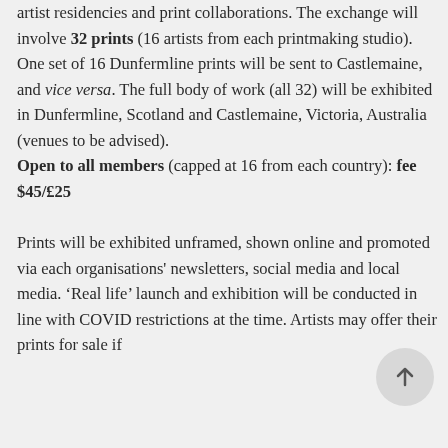artist residencies and print collaborations. The exchange will involve 32 prints (16 artists from each printmaking studio). One set of 16 Dunfermline prints will be sent to Castlemaine, and vice versa. The full body of work (all 32) will be exhibited in Dunfermline, Scotland and Castlemaine, Victoria, Australia (venues to be advised). Open to all members (capped at 16 from each country); fee $45/£25 Prints will be exhibited unframed, shown online and promoted via each organisations' newsletters, social media and local media. 'Real life' launch and exhibition will be conducted in line with COVID restrictions at the time. Artists may offer their prints for sale if